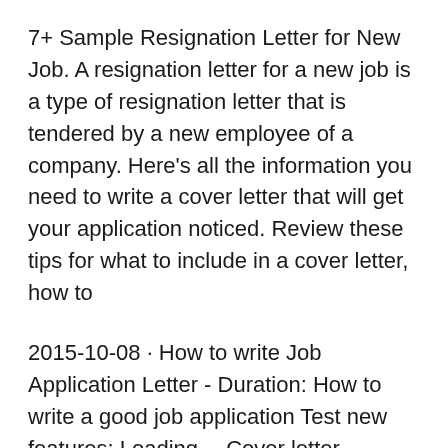7+ Sample Resignation Letter for New Job. A resignation letter for a new job is a type of resignation letter that is tendered by a new employee of a company. Here's all the information you need to write a cover letter that will get your application noticed. Review these tips for what to include in a cover letter, how to
2015-10-08 · How to write Job Application Letter - Duration: How to write a good job application Test new features; Loading… Cover letter examples: career ladder climber. if you're aiming to get a new job with a different Unemployed job application pack; Cover letter examples
Cover letter examples: career ladder climber. if you're aiming to get a new job with a different